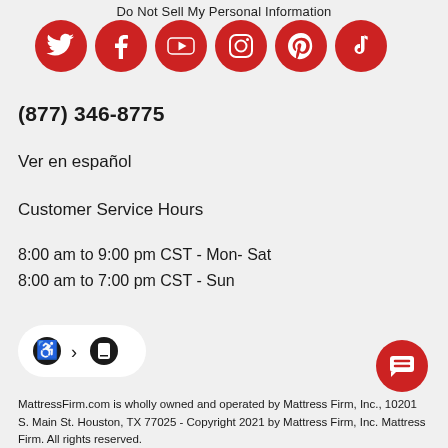Do Not Sell My Personal Information
[Figure (illustration): Six red circular social media icons in a row: Twitter, Facebook, YouTube, Instagram, Pinterest, TikTok]
(877) 346-8775
Ver en español
Customer Service Hours
8:00 am to 9:00 pm CST - Mon- Sat
8:00 am to 7:00 pm CST - Sun
[Figure (logo): Accessibility and mobile badge with wheelchair and phone icons on white rounded rectangle background]
[Figure (illustration): Red circular chat button with chat bubble lines icon]
MattressFirm.com is wholly owned and operated by Mattress Firm, Inc., 10201 S. Main St. Houston, TX 77025 - Copyright 2021 by Mattress Firm, Inc. Mattress Firm. All rights reserved.